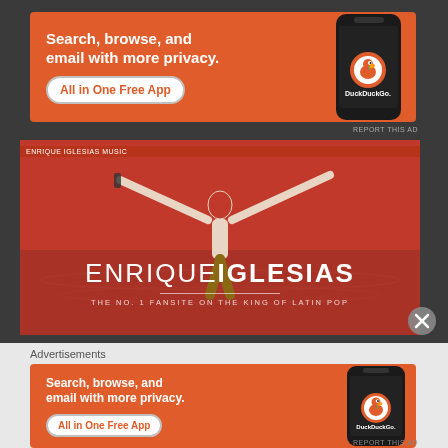[Figure (screenshot): DuckDuckGo advertisement banner - orange background with text 'Search, browse, and email with more privacy. All in One Free App' and phone mockup showing DuckDuckGo logo]
REPORT THIS AD
[Figure (screenshot): Enrique Iglesias fan site header banner - red/orange background with person with arms spread, text 'ENRIQUE IGLESIAS - THE NO.1 FANSITE ON THE KING OF LATIN POP']
Advertisements
[Figure (screenshot): DuckDuckGo advertisement banner (second instance) - orange background with text 'Search, browse, and email with more privacy. All in One Free App' and phone mockup showing DuckDuckGo logo]
REPORT THIS AD